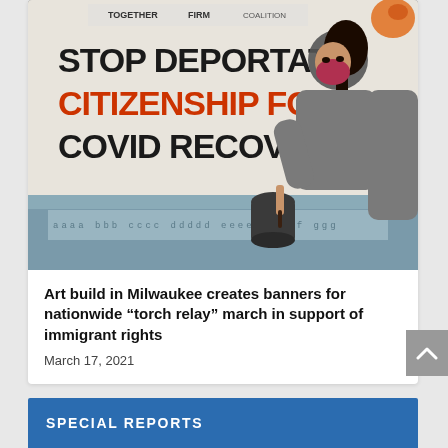[Figure (photo): A person wearing a gray long-sleeve shirt and a red/pink mask is painting letters on a banner at a table. Behind them is a large white banner with bold text reading 'STOP DEPORTATIO[NS]', 'CITIZENSHIP FOR [ALL]', 'COVID RECOVERY'. The logos of 'TOGETHER', 'FIRM', and another organization are visible at the top. A dark bucket sits on the table.]
Art build in Milwaukee creates banners for nationwide “torch relay” march in support of immigrant rights
March 17, 2021
SPECIAL REPORTS